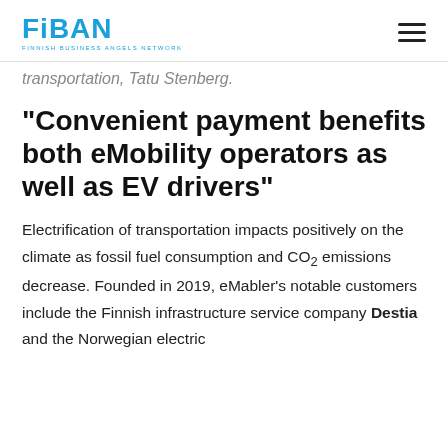FiBAN — FINNISH BUSINESS ANGELS NETWORK
transportation, Tatu Stenberg.
“Convenient payment benefits both eMobility operators as well as EV drivers”
Electrification of transportation impacts positively on the climate as fossil fuel consumption and CO₂ emissions decrease. Founded in 2019, eMabler’s notable customers include the Finnish infrastructure service company Destia and the Norwegian electric